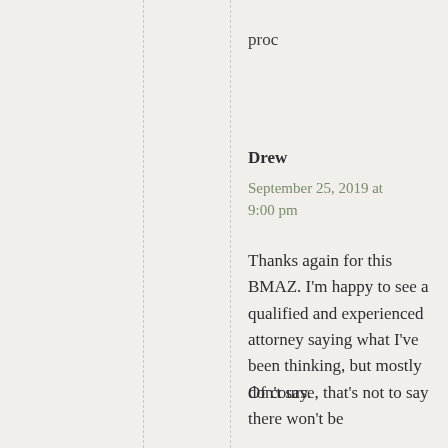proc
Drew
September 25, 2019 at 9:00 pm
Thanks again for this BMAZ. I'm happy to see a qualified and experienced attorney saying what I've been thinking, but mostly don't say.
Of course, that's not to say there won't be